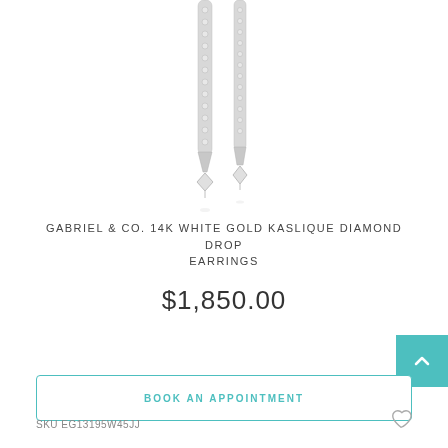[Figure (photo): Two white gold diamond drop earrings with pavé-set diamonds along the bar and a diamond-shaped pendant drop at the bottom, shown on white background]
GABRIEL & CO. 14K WHITE GOLD KASLIQUE DIAMOND DROP EARRINGS
$1,850.00
BOOK AN APPOINTMENT
SKU EG13195W45JJ